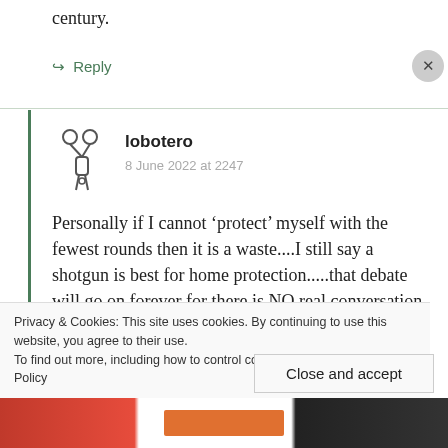century.
↪ Reply
[Figure (illustration): User avatar icon for lobotero: stylized scissors/figure drawing]
lobotero
8 June 2022 at 2247
Personally if I cannot ‘protect’ myself with the fewest rounds then it is a waste....I still say a shotgun is best for home protection.....that debate will go on forever for there is NO real conversation just crap thrown into the mix. chua
Privacy & Cookies: This site uses cookies. By continuing to use this website, you agree to their use.
To find out more, including how to control cookies, see here: Cookie Policy
Close and accept